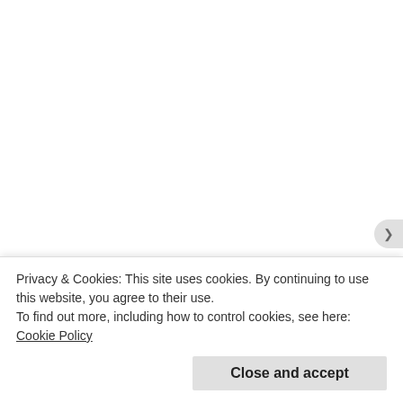Movies
Mud
Muscle Shoals
music
Mystery
N. S. U.
Ned Beatty
Neil Young
Neil Young and Crazy Horse
Neil Young And The Shocking Pinks
Neo – Western films
Nick Cave
Nick Mason
Nick Nolte
Nirvana
No Reason To Cry
Noir
Norman Jewison
Norwegian Film
Privacy & Cookies: This site uses cookies. By continuing to use this website, you agree to their use. To find out more, including how to control cookies, see here: Cookie Policy
Close and accept